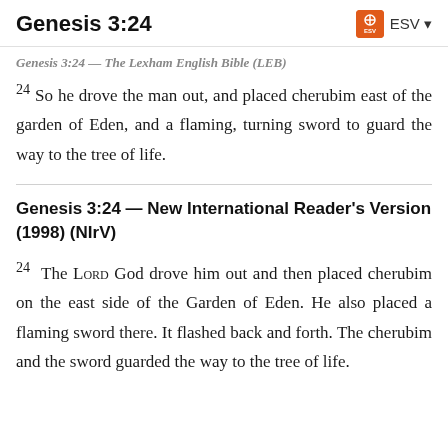Genesis 3:24   ESV
Genesis 3:24 — The Lexham English Bible (LEB)
24 So he drove the man out, and placed cherubim east of the garden of Eden, and a flaming, turning sword to guard the way to the tree of life.
Genesis 3:24 — New International Reader's Version (1998) (NIrV)
24 The Lord God drove him out and then placed cherubim on the east side of the Garden of Eden. He also placed a flaming sword there. It flashed back and forth. The cherubim and the sword guarded the way to the tree of life.